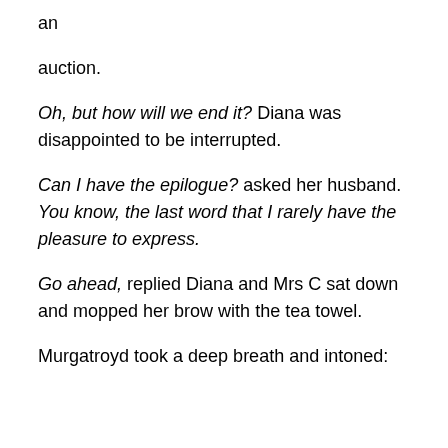an
auction.
Oh, but how will we end it? Diana was disappointed to be interrupted.
Can I have the epilogue? asked her husband.  You know, the last word that I rarely have the pleasure to express.
Go ahead, replied Diana and Mrs C sat down and mopped her brow with the tea towel.
Murgatroyd took a deep breath and intoned: